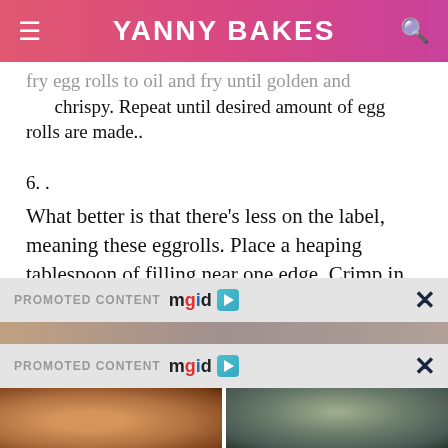YANNY BAKES
fry egg rolls to oil and fry until golden and chrispy. Repeat until desired amount of egg rolls are made..
6. .
What better is that there's less on the label, meaning these eggrolls. Place a heaping tablespoon of filling near one edge. Crimp in both edges and roll over once more. Promptly refrigerate any unused heated portion. FOR
PROMOTED CONTENT mgid
[Figure (photo): Promotional image strip (partially visible)]
PROMOTED CONTENT mgid
[Figure (photo): Left thumbnail: close-up of hands kneading/massaging dough]
[Figure (photo): Right thumbnail: group of students in green uniform]